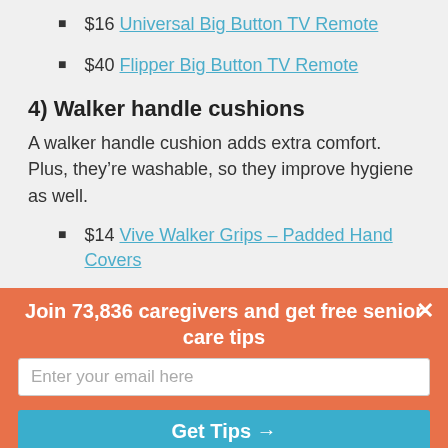$16 Universal Big Button TV Remote
$40 Flipper Big Button TV Remote
4) Walker handle cushions
A walker handle cushion adds extra comfort. Plus, they're washable, so they improve hygiene as well.
$14 Vive Walker Grips – Padded Hand Covers
$20 Crutcheze Walker Padded Hand Grip
Join 73,836 caregivers and get free senior care tips
Enter your email here
Get Tips →